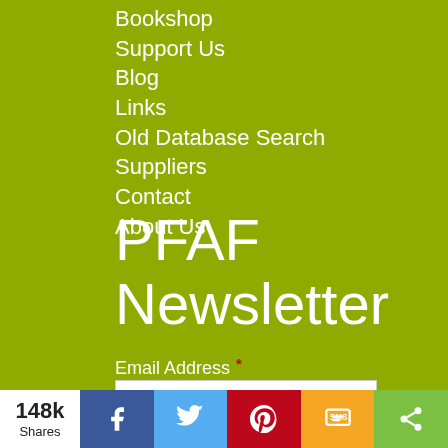Bookshop
Support Us
Blog
Links
Old Database Search
Suppliers
Contact
About Us
PFAF Newsletter
Email Address *
Sign Up
148k Shares